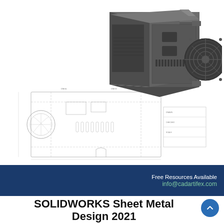[Figure (logo): CADArtifex logo: blue and green shield/diamond icon with text 'CADArtifex' below]
[Figure (illustration): 3D CAD rendering of a sheet metal enclosure box (dark gray) with fan grill cutout, alongside a flat pattern drawing/blueprint showing the unfolded sheet metal part with dimension annotations]
Free Resources Available
info@cadartifex.com
SOLIDWORKS Sheet Metal Design 2021